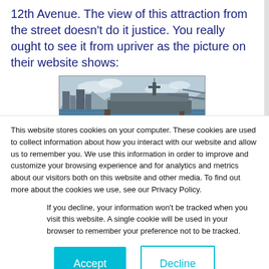12th Avenue. The view of this attraction from the street doesn't do it justice. You really ought to see it from upriver as the picture on their website shows:
[Figure (photo): Aerial/river view of a naval ship (aircraft carrier) docked at a pier with city skyline and bridge visible in background.]
This website stores cookies on your computer. These cookies are used to collect information about how you interact with our website and allow us to remember you. We use this information in order to improve and customize your browsing experience and for analytics and metrics about our visitors both on this website and other media. To find out more about the cookies we use, see our Privacy Policy.
If you decline, your information won't be tracked when you visit this website. A single cookie will be used in your browser to remember your preference not to be tracked.
Accept
Decline